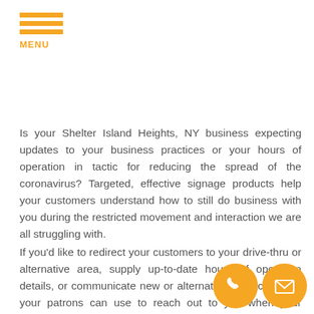MENU
Is your Shelter Island Heights, NY business expecting updates to your business practices or your hours of operation in tactic for reducing the spread of the coronavirus? Targeted, effective signage products help your customers understand how to still do business with you during the restricted movement and interaction we are all struggling with.
If you'd like to redirect your customers to your drive-thru or alternative area, supply up-to-date hours of operation details, or communicate new or alternative contact details your patrons can use to reach out to you when your physical location is not accessible by drop-in customers or guests, Port Jeff Signs & Graphics supplies assistive business signs, graphics, and banners to help you during these uncertain times.